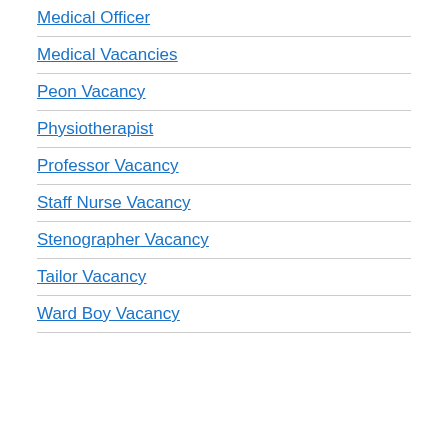Medical Officer
Medical Vacancies
Peon Vacancy
Physiotherapist
Professor Vacancy
Staff Nurse Vacancy
Stenographer Vacancy
Tailor Vacancy
Ward Boy Vacancy